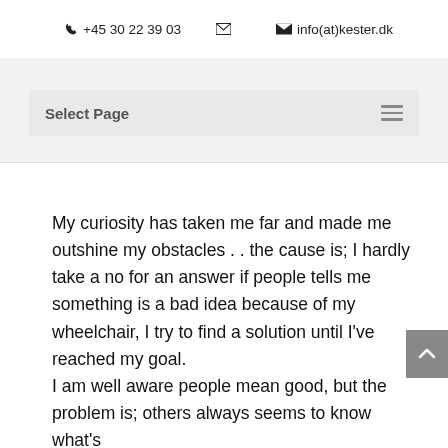📞 +45 30 22 39 03   ✉ info(at)kester.dk
Select Page
My curiosity has taken me far and made me outshine my obstacles . . the cause is; I hardly take a no for an answer if people tells me something is a bad idea because of my wheelchair, I try to find a solution until I've reached my goal.
I am well aware people mean good, but the problem is; others always seems to know what's